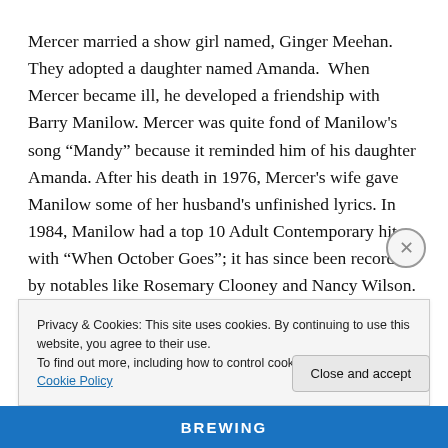Mercer married a show girl named, Ginger Meehan.  They adopted a daughter named Amanda.  When Mercer became ill, he developed a friendship with Barry Manilow. Mercer was quite fond of Manilow’s song “Mandy” because it reminded him of his daughter Amanda. After his death in 1976, Mercer’s wife gave Manilow some of her husband’s unfinished lyrics. In 1984, Manilow had a top 10 Adult Contemporary hit with “When October Goes”; it has since been recorded by notables like Rosemary Clooney and Nancy Wilson.
Privacy & Cookies: This site uses cookies. By continuing to use this website, you agree to their use.
To find out more, including how to control cookies, see here: Cookie Policy